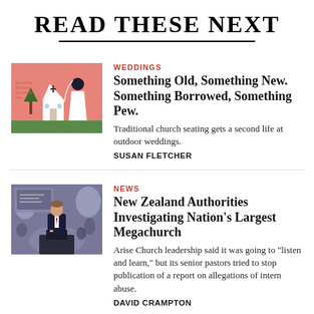READ THESE NEXT
[Figure (illustration): Illustrated image with pink background showing a bride figure and a church, used as thumbnail for weddings article]
WEDDINGS
Something Old, Something New. Something Borrowed, Something Pew.
Traditional church seating gets a second life at outdoor weddings.
SUSAN FLETCHER
[Figure (photo): Photo of a man in a suit speaking at a podium in front of a crowd, used as thumbnail for news article about megachurch investigation]
NEWS
New Zealand Authorities Investigating Nation's Largest Megachurch
Arise Church leadership said it was going to "listen and learn," but its senior pastors tried to stop publication of a report on allegations of intern abuse.
DAVID CRAMPTON